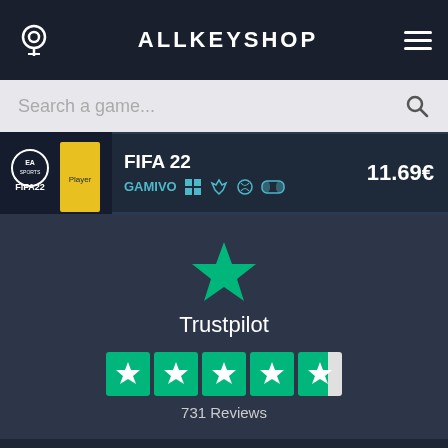ALLKEYSHOP
Search a game...
FIFA 22 GAMIVO 11.69€
[Figure (logo): Trustpilot logo with large green star and text 'Trustpilot', 4.5 green star rating, 731 Reviews]
We use cookies to ensure that we give you the best experience on our website. If you continue to use this site we will assume that you are happy with it. Read more
Ok No Help